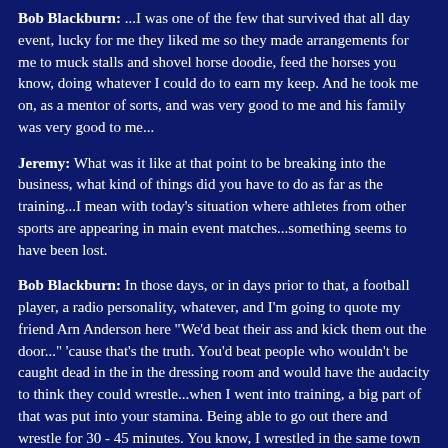Bob Blackburn: ...I was one of the few that survived that all day event, lucky for me they liked me so they made arrangements for me to muck stalls and shovel horse doodie, feed the horses you know, doing whatever I could do to earn my keep. And he took me on, as a mentor of sorts, and was very good to me and his family was very good to me...
Jeremy: What was it like at that point to be breaking into the business, what kind of things did you have to do as far as the training...I mean with today's situation where athletes from other sports are appearing in main event matches...something seems to have been lost.
Bob Blackburn: In those days, or in days prior to that, a football player, a radio personality, whatever, and I'm going to quote my friend Arn Anderson here "We'd beat their ass and kick them out the door..." 'cause that's the truth. You'd beat people who wouldn't be caught dead in the in the dressing room and would have the audacity to think they could wrestle...when I went into training, a big part of that was put into your stamina. Being able to go out there and wrestle for 30 - 45 minutes. You know, I wrestled in the same town every week so when you go to Dothan, Alabama every Saturday night and they want to see a fist fight, and they saw you fight there last week...you better be able to fight different this